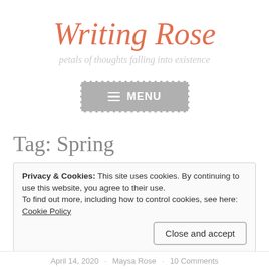Writing Rose
petals of thoughts falling into existence
[Figure (other): Navigation menu button with hamburger icon and MENU label on grey background with dashed white border]
Tag: Spring
Privacy & Cookies: This site uses cookies. By continuing to use this website, you agree to their use.
To find out more, including how to control cookies, see here: Cookie Policy
Close and accept
April 14, 2020 · Maysa Rose · 10 Comments